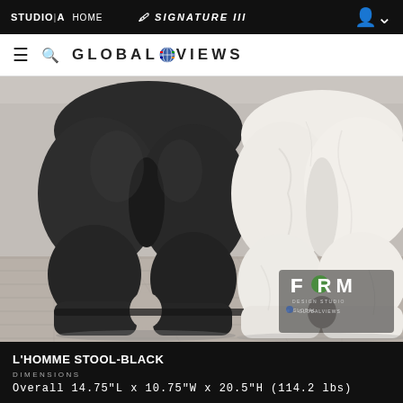STUDIO|A  HOME    SIGNATURE III
GLOBAL VIEWS
[Figure (photo): Two sculptural stools shaped like human lower torsos/buttocks. The left stool is in black stone/marble finish, the right stool is in white marble. They are placed on a light wood floor. A FORM Design Studio by Global Views logo is overlaid in the bottom-right corner of the image.]
L'HOMME STOOL-BLACK
DIMENSIONS
Overall 14.75"L x 10.75"W x 20.5"H (114.2 lbs)